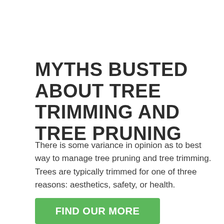MYTHS BUSTED ABOUT TREE TRIMMING AND TREE PRUNING
There is some variance in opinion as to best way to manage tree pruning and tree trimming. Trees are typically trimmed for one of three reasons: aesthetics, safety, or health.
FIND OUR MORE